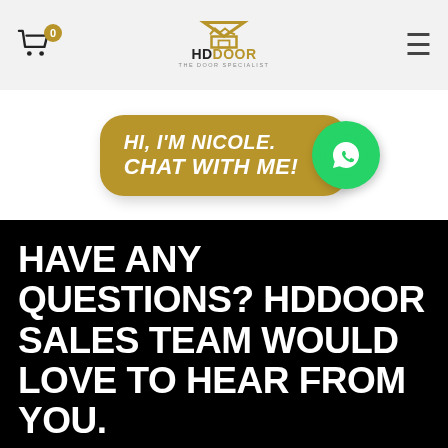HD DOOR - THE DOOR SPECIALIST
[Figure (logo): HD DOOR logo with house/roof icon above the text HDDOOR and subtitle THE DOOR SPECIALIST in gold color]
[Figure (infographic): Gold chat bubble with text HI, I'M NICOLE. CHAT WITH ME! and WhatsApp green circle icon]
HAVE ANY QUESTIONS? HDDOOR SALES TEAM WOULD LOVE TO HEAR FROM YOU.